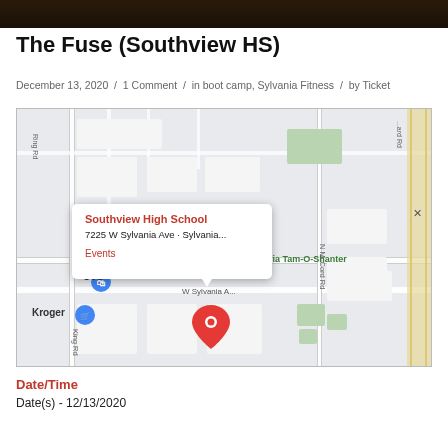[Figure (photo): Dark brown/black top banner image, likely a header photo]
The Fuse (Southview HS)
December 13, 2020  /  1 Comment  /  in boot camp, Sylvania Fitness  /  by Ticket
[Figure (map): Google Maps screenshot showing Southview High School at 7225 W Sylvania Ave, Sylvania with a red location pin. A popup shows 'Southview High School', '7225 W Sylvania Ave · Sylvania', and 'Events'. Nearby landmarks include CVS, Kroger, Olander Park, and Tam-O-Shanter.]
Date/Time
Date(s) - 12/13/2020